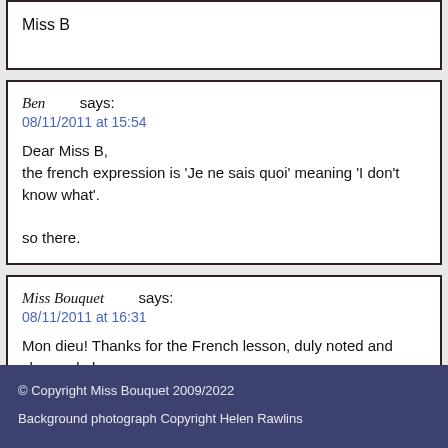Miss B
Ben says:
08/11/2011 at 15:54

Dear Miss B,
the french expression is 'Je ne sais quoi' meaning 'I don't know what'.

so there.
Miss Bouquet says:
08/11/2011 at 16:31

Mon dieu! Thanks for the French lesson, duly noted and changed abo
© Copyright Miss Bouquet 2009/2022

Background photograph Copyright Helen Rawlins